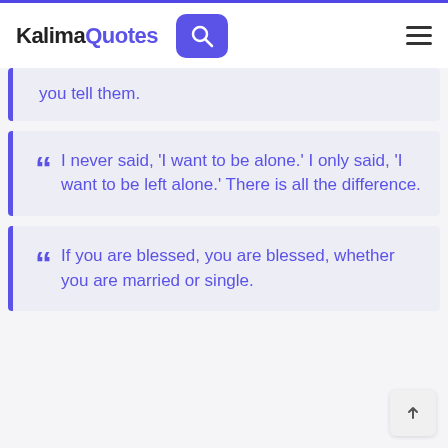KalimaQuotes
you tell them.
I never said, 'I want to be alone.' I only said, 'I want to be left alone.' There is all the difference.
If you are blessed, you are blessed, whether you are married or single.